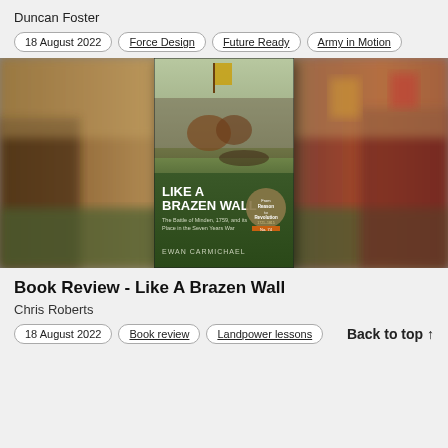Duncan Foster
18 August 2022
Force Design
Future Ready
Army in Motion
[Figure (photo): Book cover of 'Like A Brazen Wall: The Battle of Minden, 1759, and its Place in the Seven Years War' by Ewan Carmichael, set against a blurred battle scene painting background.]
Book Review - Like A Brazen Wall
Chris Roberts
18 August 2022
Book review
Landpower lessons
Back to top ↑